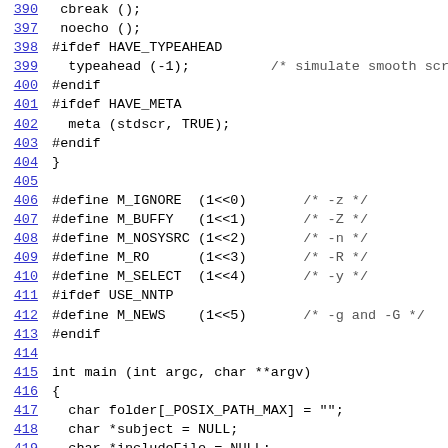390  cbreak ();
397  noecho ();
398 #ifdef HAVE_TYPEAHEAD
399   typeahead (-1);          /* simulate smooth scrolling */
400 #endif
401 #ifdef HAVE_META
402   meta (stdscr, TRUE);
403 #endif
404 }
405 
406 #define M_IGNORE  (1<<0)       /* -z */
407 #define M_BUFFY   (1<<1)       /* -Z */
408 #define M_NOSYSRC (1<<2)       /* -n */
409 #define M_RO      (1<<3)       /* -R */
410 #define M_SELECT  (1<<4)       /* -y */
411 #ifdef USE_NNTP
412 #define M_NEWS    (1<<5)       /* -g and -G */
413 #endif
414 
415 int main (int argc, char **argv)
416 {
417   char folder[_POSIX_PATH_MAX] = "";
418   char *subject = NULL;
419   char *includeFile = NULL;
420   char *draftFile = NULL;
421   char *cc...